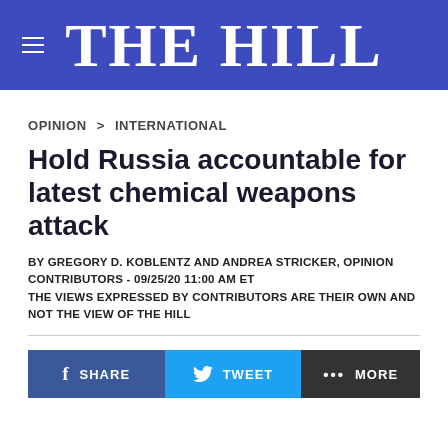THE HILL
OPINION > INTERNATIONAL
Hold Russia accountable for latest chemical weapons attack
BY GREGORY D. KOBLENTZ AND ANDREA STRICKER, OPINION CONTRIBUTORS - 09/25/20 11:00 AM ET
THE VIEWS EXPRESSED BY CONTRIBUTORS ARE THEIR OWN AND NOT THE VIEW OF THE HILL